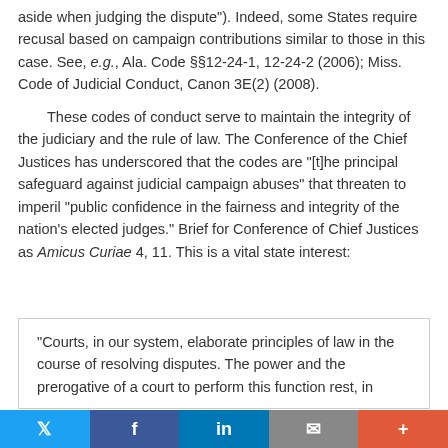aside when judging the dispute"). Indeed, some States require recusal based on campaign contributions similar to those in this case. See, e.g., Ala. Code §§12-24-1, 12-24-2 (2006); Miss. Code of Judicial Conduct, Canon 3E(2) (2008).
These codes of conduct serve to maintain the integrity of the judiciary and the rule of law. The Conference of the Chief Justices has underscored that the codes are "[t]he principal safeguard against judicial campaign abuses" that threaten to imperil "public confidence in the fairness and integrity of the nation's elected judges." Brief for Conference of Chief Justices as Amicus Curiae 4, 11. This is a vital state interest:
"Courts, in our system, elaborate principles of law in the course of resolving disputes. The power and the prerogative of a court to perform this function rest, in